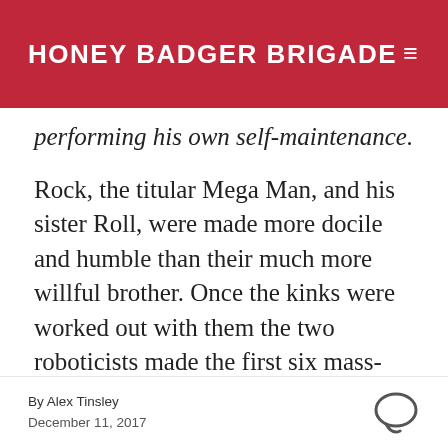HONEY BADGER BRIGADE
performing his own self-maintenance.
Rock, the titular Mega Man, and his sister Roll, were made more docile and humble than their much more willful brother. Once the kinks were worked out with them the two roboticists made the first six mass-producible Robot Masters that become the bosses of the first game of the series. Then Dr. Wily realized the military capacities of the more specialized equipment of the mainline masters. He then
By Alex Tinsley
December 11, 2017